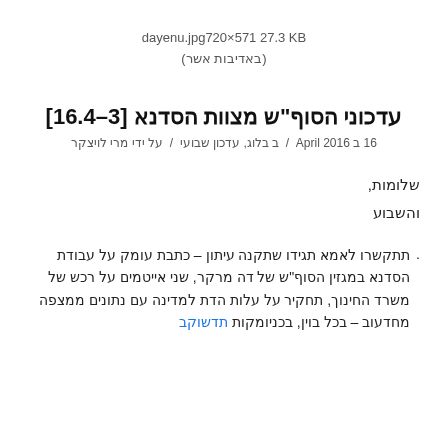dayenu.jpg720×571 27.3 KB
(באדיבות אשר)
עדכוני הסוף"ש מצוות הסדנא [16.4–3]
16 ב April 2016  /  ב בלוג, עדכון שבועי  /  על ידי מרי לויצקר
שלומות,
והשבוע
תתקשרו לאמא תגידו שתקנה עיתון – כתבת עומק על עבודת הסדנא במגזין הסוף"ש של דה מרקר, שני אייטמים על רכש של משרד החינוך, תחקיר על עלות הדת למדינה עם נתונים ממצפה מחדעוב – בכל בוין, בכניומקות תדשוקב